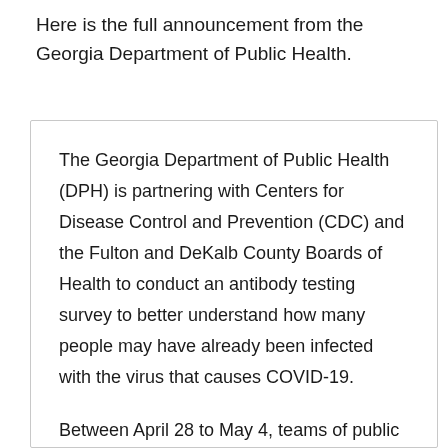Here is the full announcement from the Georgia Department of Public Health.
The Georgia Department of Public Health (DPH) is partnering with Centers for Disease Control and Prevention (CDC) and the Fulton and DeKalb County Boards of Health to conduct an antibody testing survey to better understand how many people may have already been infected with the virus that causes COVID-19.
Between April 28 to May 4, teams of public health professionals will visit randomly selected homes in different areas of Fulton and DeKalb counties. Household members will be asked to answer survey questions and provide a blood sample to be tested for antibodies for SARS-CoV-2, the virus that causes